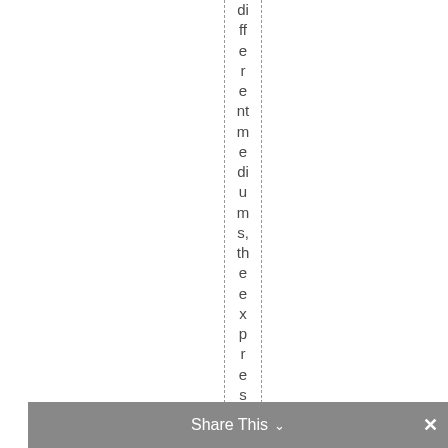different mediums, the expression of is
Share This ∨  ✕